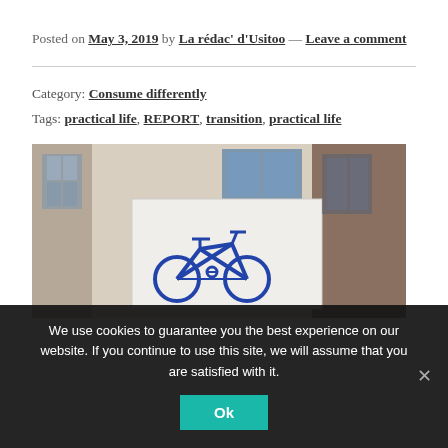Posted on May 3, 2019 by La rédac' d'Usitoo — Leave a comment
Category: Consume differently
Tags: practical life, REPORT, transition, practical life
[Figure (photo): A building exterior with a blue bicycle sign/logo on a white board mounted on the wall, with windows visible in the background.]
We use cookies to guarantee you the best experience on our website. If you continue to use this site, we will assume that you are satisfied with it.